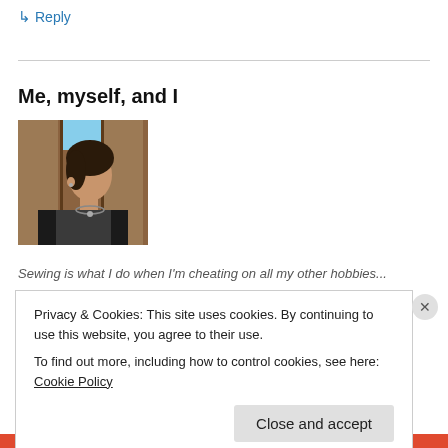↳ Reply
Me, myself, and I
[Figure (photo): A woman with dark short hair seen in profile, wearing a necklace and dark top, standing in front of wooden panels with a blue sky visible.]
Sewing is what I do when I'm cheating on all my other hobbies...
Privacy & Cookies: This site uses cookies. By continuing to use this website, you agree to their use.
To find out more, including how to control cookies, see here: Cookie Policy
Close and accept